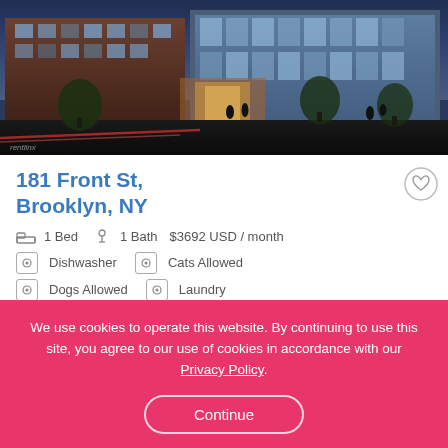[Figure (photo): Exterior night photo of a modern mixed-use brick and glass apartment building at 181 Front St, Brooklyn, with trees lining the sidewalk and a lit entrance. Watermark 'rentlinx' in bottom-left corner.]
181 Front St,
Brooklyn, NY
1 Bed  1 Bath  $3692 USD / month
Dishwasher  Cats Allowed
Dogs Allowed  Laundry
We use cookies to operate this website. By continuing to use this site, you agree to our use of cookies in accordance with our Privacy Policy.
Continue